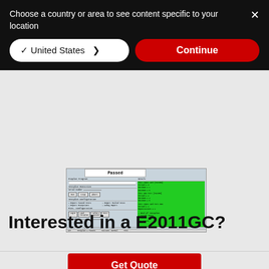Choose a country or area to see content specific to your location
[Figure (screenshot): Software UI screenshot showing a test application with 'Passed' status, green result panel, and test controls including Run/Stop/Abort buttons]
Interested in a E2011GC?
Get Quote